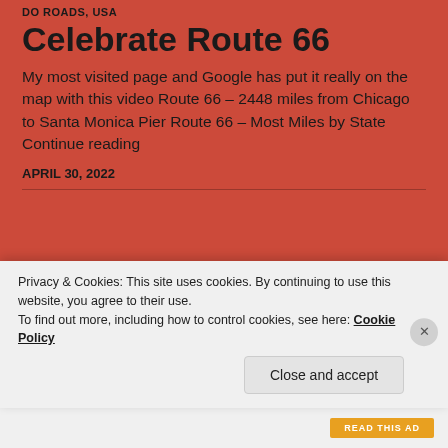DO ROADS, USA
Celebrate Route 66
My most visited page and Google has put it really on the map with this video Route 66 – 2448 miles from Chicago to Santa Monica Pier Route 66 – Most Miles by State Continue reading
APRIL 30, 2022
[Figure (photo): Blurred photo of people seated, possibly on an airplane or in an auditorium, with a person's dark hair visible on the right side]
Privacy & Cookies: This site uses cookies. By continuing to use this website, you agree to their use.
To find out more, including how to control cookies, see here: Cookie Policy
Close and accept